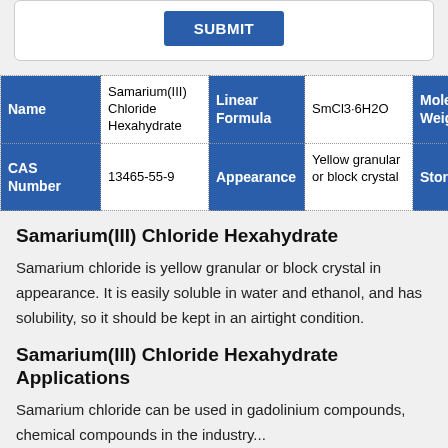[Figure (other): SUBMIT button inside a rounded white box]
| Name | Samarium(III) Chloride Hexahydrate | Linear Formula | SmCl3·6H2O | Molecular Weight | 36... |
| --- | --- | --- | --- | --- | --- |
| CAS Number | 13465-55-9 | Appearance | Yellow granular or block crystal | Storage | Ke... ar... ai... co... |
Samarium(III) Chloride Hexahydrate
Samarium chloride is yellow granular or block crystal in appearance. It is easily soluble in water and ethanol, and has solubility, so it should be kept in an airtight condition.
Samarium(III) Chloride Hexahydrate Applications
Samarium chloride can be used in gadolinium compounds, chemical compounds in the industry...